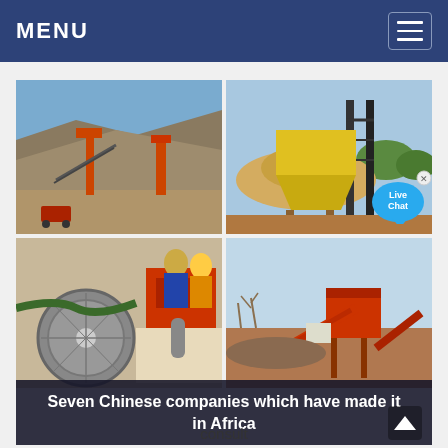MENU
[Figure (photo): Four-panel image grid showing Chinese mining/crushing equipment in African settings: top-left shows a hillside crusher installation, top-right shows a yellow hopper crusher on stilts with trees, bottom-left shows workers and red heavy machinery up close, bottom-right shows red conveyor/crusher plant in open landscape.]
Seven Chinese companies which have made it in Africa
consult